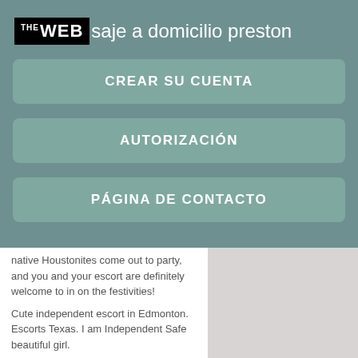THE WEB saje a domicilio preston
CREAR SU CUENTA
AUTORIZACIÓN
PÁGINA DE CONTACTO
native Houstonites come out to party, and you and your escort are definitely welcome to in on the festivities!
Cute independent escort in Edmonton. Escorts Texas. I am Independent Safe beautiful girl.